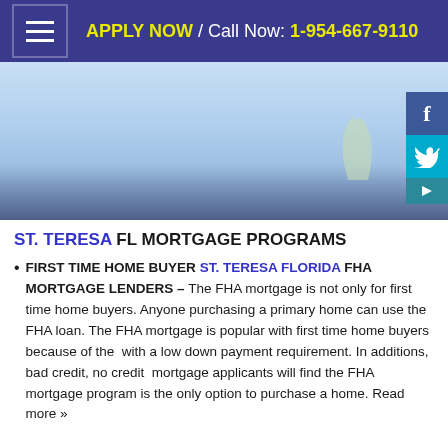APPLY NOW / Call Now: 1-954-667-9110
[Figure (illustration): Hero banner image with light blue sky gradient background and city skyline silhouette at bottom]
ST. TERESA FL MORTGAGE PROGRAMS
FIRST TIME HOME BUYER ST. TERESA FLORIDA FHA MORTGAGE LENDERS – The FHA mortgage is not only for first time home buyers. Anyone purchasing a primary home can use the FHA loan. The FHA mortgage is popular with first time home buyers because of the with a low down payment requirement. In additions, bad credit, no credit mortgage applicants will find the FHA mortgage program is the only option to purchase a home. Read more »